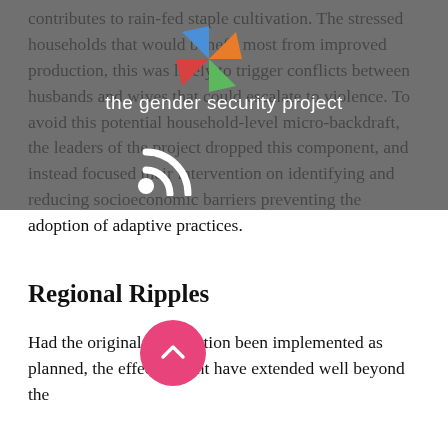contributes to rain-fed staple cultivation. The stressed households that would benefit most from improved production, this was likely to trigger conflicts between husbands and wives that could escalate to violence. To avoid this potential household-level micro-backdraft, the leaders of the project dropped this component, and instead focused their intervention on identifying and reducing socioeconomic barriers preventing the adoption of adaptive practices.
[Figure (logo): The Gender Security Project logo — colorful four-pointed star/cross icon and brand text overlay on dark gray background, with RSS icon]
Regional Ripples
Had the original intervention been implemented as planned, the effects might have extended well beyond the